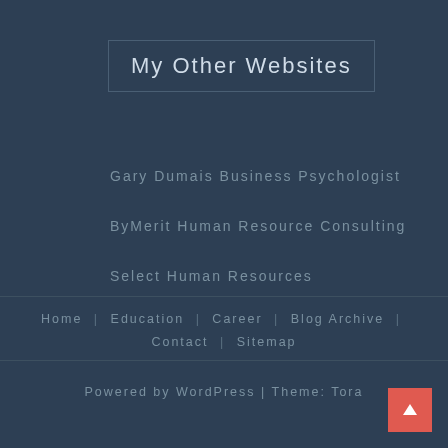My Other Websites
Gary Dumais Business Psychologist
ByMerit Human Resource Consulting
Select Human Resources
Home | Education | Career | Blog Archive | Contact | Sitemap
Powered by WordPress | Theme: Tora